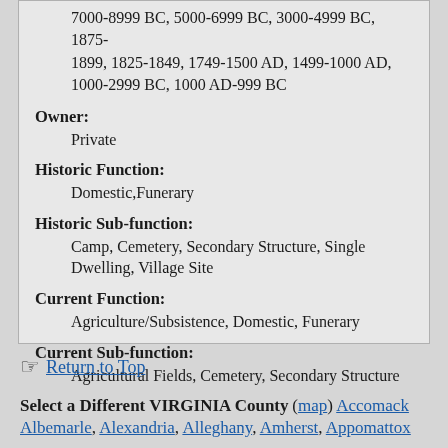7000-8999 BC, 5000-6999 BC, 3000-4999 BC, 1875-1899, 1825-1849, 1749-1500 AD, 1499-1000 AD, 1000-2999 BC, 1000 AD-999 BC
Owner:
Private
Historic Function:
Domestic,Funerary
Historic Sub-function:
Camp, Cemetery, Secondary Structure, Single Dwelling, Village Site
Current Function:
Agriculture/Subsistence, Domestic, Funerary
Current Sub-function:
Agricultural Fields, Cemetery, Secondary Structure
Return to Top
Select a Different VIRGINIA County (map) Accomack
Albemarle, Alexandria, Alleghany, Amherst, Appomattox